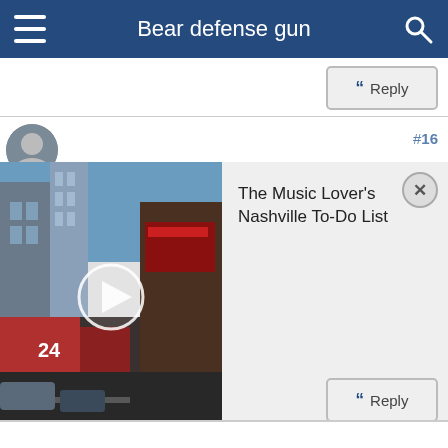Bear defense gun
[Figure (screenshot): Video thumbnail showing Nashville street scene with play button overlay, alongside ad panel reading 'The Music Lover's Nashville To-Do List' with a close button, labeled #16]
The Music Lover's Nashville To-Do List